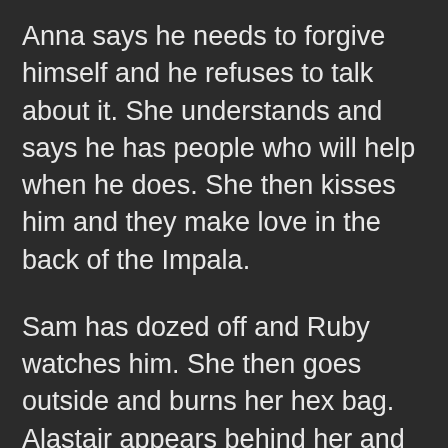Anna says he needs to forgive himself and he refuses to talk about it. She understands and says he has people who will help when he does. She then kisses him and they make love in the back of the Impala.
Sam has dozed off and Ruby watches him. She then goes outside and burns her hex bag. Alastair appears behind her and shows her the demon-killing knife. She says she's there to talk and offers him the angel in return for being able to walk away with the Winchesters. He considers her offer but has his...